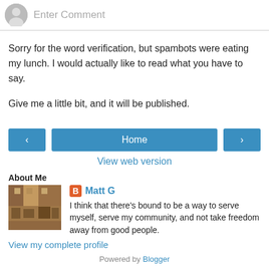[Figure (screenshot): Comment input area with grey avatar icon and 'Enter Comment' placeholder text]
Sorry for the word verification, but spambots were eating my lunch. I would actually like to read what you have to say.
Give me a little bit, and it will be published.
[Figure (screenshot): Navigation buttons: left arrow, Home, right arrow]
View web version
About Me
[Figure (screenshot): Profile photo of building/street scene and Blogger icon with name Matt G]
I think that there's bound to be a way to serve myself, serve my community, and not take freedom away from good people.
View my complete profile
Powered by Blogger